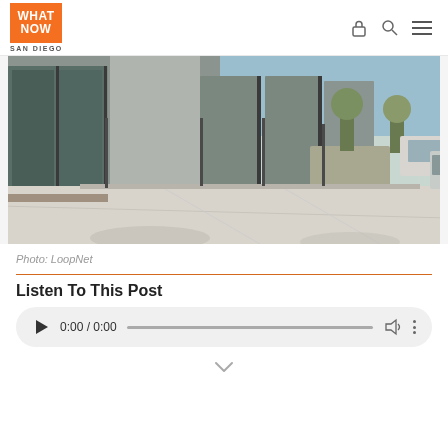WHAT NOW SAN DIEGO
[Figure (photo): Street-level view of a modern commercial building with large glass windows and a concrete sidewalk, trees and parked cars visible in background]
Photo: LoopNet
Listen To This Post
[Figure (screenshot): Audio player widget showing 0:00 / 0:00 with play button, progress bar, volume icon, and more options icon]